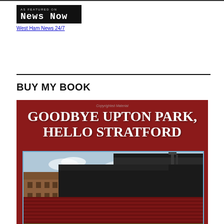[Figure (logo): News Now logo - black box with 'AS FEATURED ON' text above 'NEWS NOW' in pixel/monospace font, with 'West Ham News 24/7' link below]
BUY MY BOOK
[Figure (photo): Book cover for 'Goodbye Upton Park, Hello Stratford' - red background with white serif bold title text and a photo of Upton Park stadium interior showing stands and floodlights]